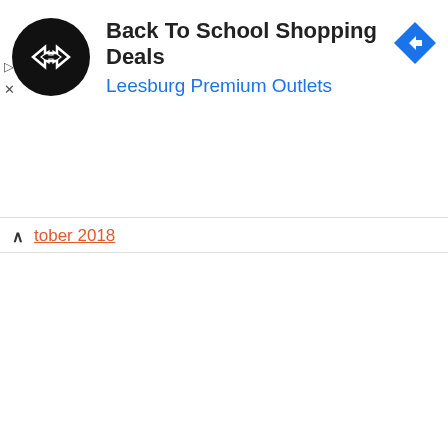[Figure (logo): Back To School Shopping Deals ad banner with circular logo and Leesburg Premium Outlets subtitle]
October 2018
September 2018
August 2018
July 2018
June 2018
May 2018
April 2018
March 2018